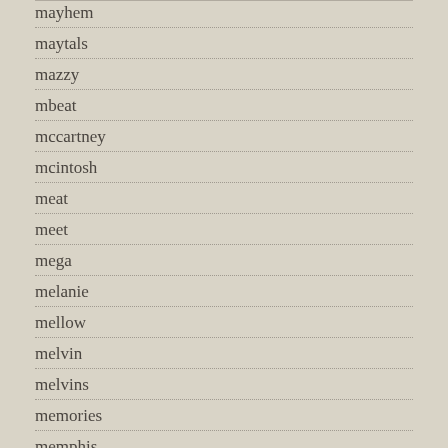mayhem
maytals
mazzy
mbeat
mccartney
mcintosh
meat
meet
mega
melanie
mellow
melvin
melvins
memories
memphis
mercury